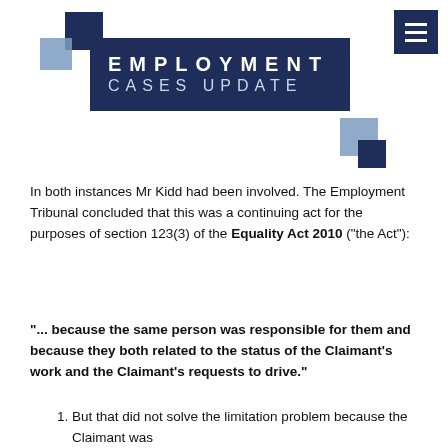[Figure (logo): Employment Cases Update logo with dark navy banner text and decorative blue squares]
In both instances Mr Kidd had been involved. The Employment Tribunal concluded that this was a continuing act for the purposes of section 123(3) of the Equality Act 2010 ("the Act"):
"... because the same person was responsible for them and because they both related to the status of the Claimant's work and the Claimant's requests to drive."
But that did not solve the limitation problem because the Claimant was